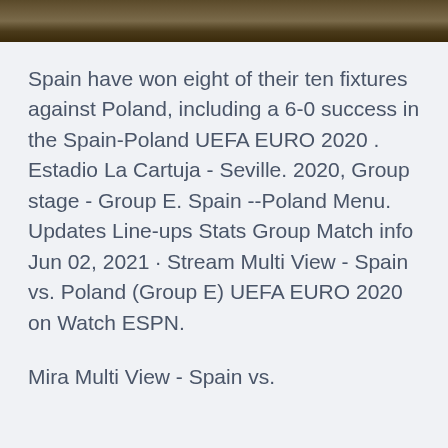[Figure (photo): A dark outdoor photo strip showing foliage or scenery, cropped to a narrow horizontal bar at the top of the page.]
Spain have won eight of their ten fixtures against Poland, including a 6-0 success in the Spain-Poland UEFA EURO 2020 . Estadio La Cartuja - Seville. 2020, Group stage - Group E. Spain --Poland Menu. Updates Line-ups Stats Group Match info Jun 02, 2021 · Stream Multi View - Spain vs. Poland (Group E) UEFA EURO 2020 on Watch ESPN.
Mira Multi View - Spain vs.